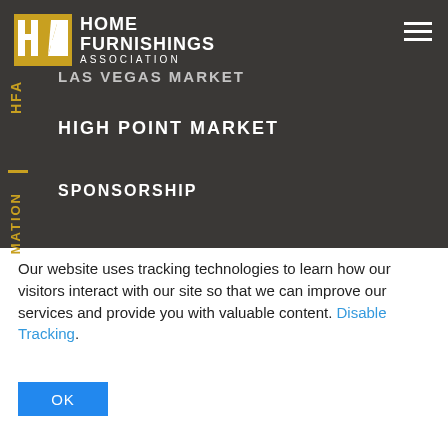[Figure (logo): Home Furnishings Association logo with yellow/gold square containing HA letters and white text 'HOME FURNISHINGS ASSOCIATION']
[Figure (other): Hamburger menu icon (three white horizontal lines) in top right corner]
LAS VEGAS MARKET
HIGH POINT MARKET
SPONSORSHIP
Our website uses tracking technologies to learn how our visitors interact with our site so that we can improve our services and provide you with valuable content. Disable Tracking.